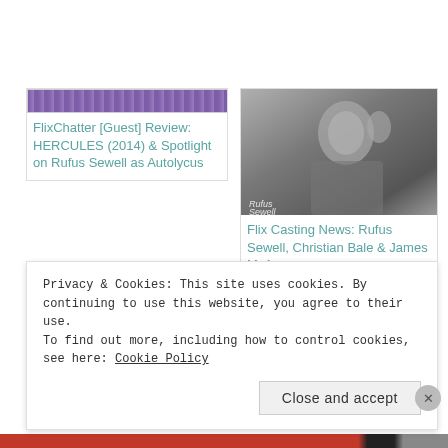[Figure (illustration): Purple dotted/striped thumbnail bar for FlixChatter Guest Review article]
FlixChatter [Guest] Review: HERCULES (2014) & Spotlight on Rufus Sewell as Autolycus
[Figure (photo): Black and white photo of Rufus Sewell with watermark text 'Rufus Sewell']
Flix Casting News: Rufus Sewell, Christian Bale & James McAvoy
[Figure (illustration): Purple dotted/striped thumbnail bar for Guest Post article]
Guest Post: The Joy of Discovering Rufus Sewell
Privacy & Cookies: This site uses cookies. By continuing to use this website, you agree to their use.
To find out more, including how to control cookies, see here: Cookie Policy
Close and accept